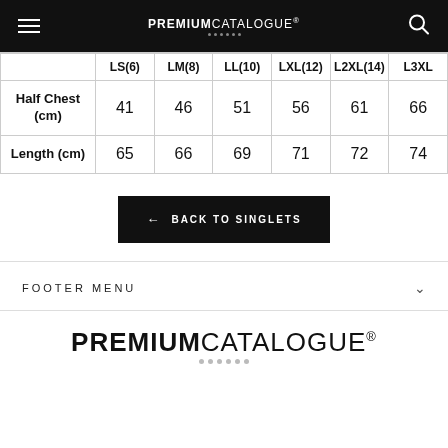PREMIUM CATALOGUE
|  | LS(6) | LM(8) | LL(10) | LXL(12) | L2XL(14) | L3XL |
| --- | --- | --- | --- | --- | --- | --- |
| Half Chest (cm) | 41 | 46 | 51 | 56 | 61 | 66 |
| Length (cm) | 65 | 66 | 69 | 71 | 72 | 74 |
← BACK TO SINGLETS
FOOTER MENU
PREMIUM CATALOGUE®